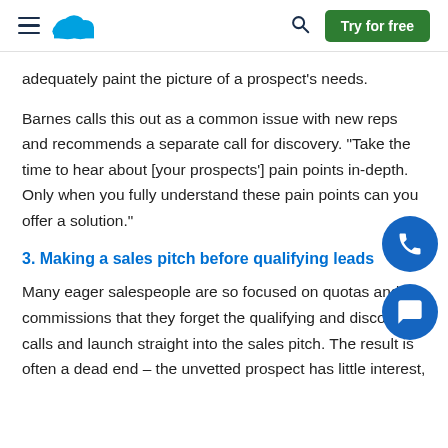Salesforce navigation header with hamburger menu, cloud logo, search icon, and Try for free button
adequately paint the picture of a prospect's needs.
Barnes calls this out as a common issue with new reps and recommends a separate call for discovery. “Take the time to hear about [your prospects’] pain points in-depth. Only when you fully understand these pain points can you offer a solution.”
3. Making a sales pitch before qualifying leads
Many eager salespeople are so focused on quotas and commissions that they forget the qualifying and discovery calls and launch straight into the sales pitch. The result is often a dead end – the unvetted prospect has little interest,